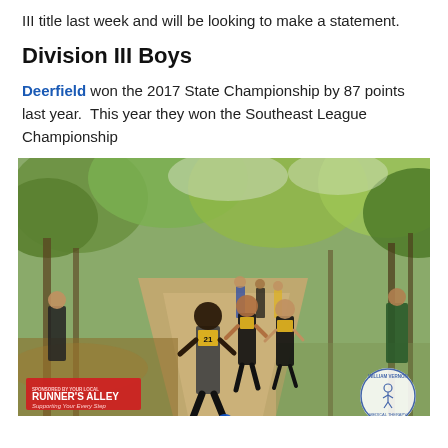III title last week and will be looking to make a statement.
Division III Boys
Deerfield won the 2017 State Championship by 87 points last year.  This year they won the Southeast League Championship
[Figure (photo): Cross country runners racing on a wooded dirt path during a meet. Several runners visible including a lead runner wearing bib number 21. Spectators visible on the sides. Sponsored by Runner's Alley overlay in bottom left, and William Vernon Medical Therapy logo in bottom right.]